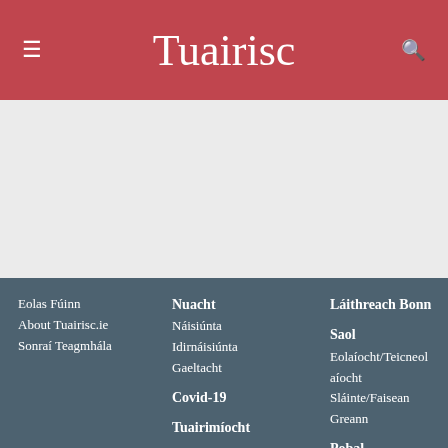Tuairisc
[Figure (other): Gray placeholder content area]
Eolas Fúinn
About Tuairisc.ie
Sonraí Teagmhála

Nuacht
Náisiúnta
Idirnáisiúnta
Gaeltacht

Covid-19

Tuairimíocht

Láithreach Bonn

Saol
Eolaíocht/Teicneolaíocht
Sláinte/Faisean
Greann

Pobal